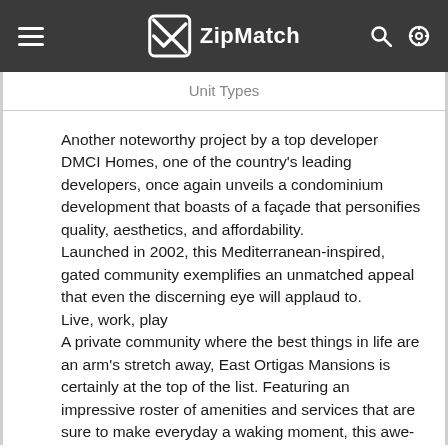ZipMatch
Unit Types
Another noteworthy project by a top developer DMCI Homes, one of the country's leading developers, once again unveils a condominium development that boasts of a façade that personifies quality, aesthetics, and affordability. Launched in 2002, this Mediterranean-inspired, gated community exemplifies an unmatched appeal that even the discerning eye will applaud to. Live, work, play A private community where the best things in life are an arm's stretch away, East Ortigas Mansions is certainly at the top of the list. Featuring an impressive roster of amenities and services that are sure to make everyday a waking moment, this awe-inspiring community fulfills its mission to bring one's home closer to the heart of the city. Featured amenities include badminton, basketball, and tennis courts, a swimming pool, a game room with